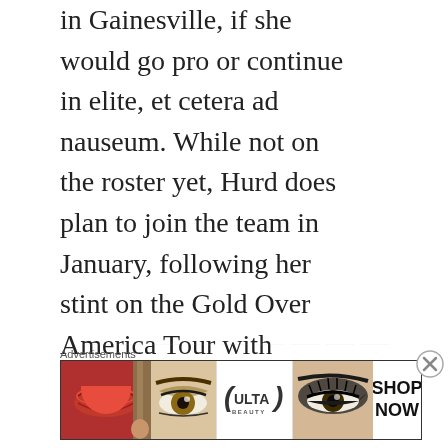in Gainesville, if she would go pro or continue in elite, et cetera ad nauseum. While not on the roster yet, Hurd does plan to join the team in January, following her stint on the Gold Over America Tour with Simone Biles, and will be added to the roster once she is enrolled in classes. She hails from First State Gymnastics in Delaware, where she's trained elite for the last seven years. A six-time national team member, Hurd has won a whopping five World Championship medals, three World Cup titles, and team titles at both Pacific Rim Championships and the Pan American Games
Advertisements
[Figure (photo): Ulta Beauty advertisement banner showing close-up photos of lips with makeup, a makeup brush, eyes with eyeshadow, Ulta Beauty logo, more eyes with dramatic eye makeup, and a 'SHOP NOW' call to action.]